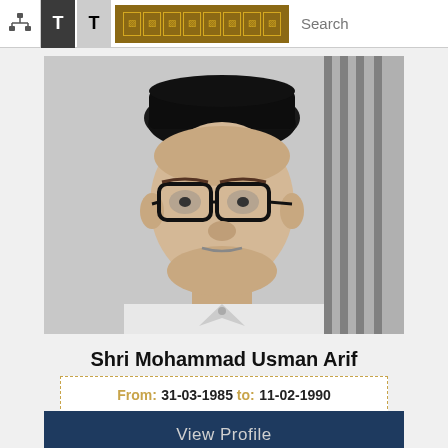T T [Hindi text] Search
[Figure (photo): Black and white portrait photograph of Shri Mohammad Usman Arif, a man wearing a traditional black Karakul hat and glasses, dressed in white kurta, shown from chest up]
Shri Mohammad Usman Arif
From: 31-03-1985 to: 11-02-1990
View Profile